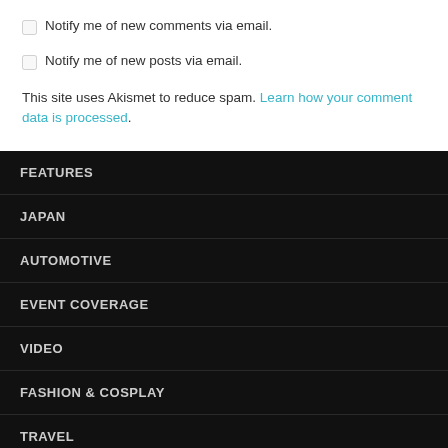Notify me of new comments via email.
Notify me of new posts via email.
This site uses Akismet to reduce spam. Learn how your comment data is processed.
FEATURES
JAPAN
AUTOMOTIVE
EVENT COVERAGE
VIDEO
FASHION & COSPLAY
TRAVEL
RANDOM